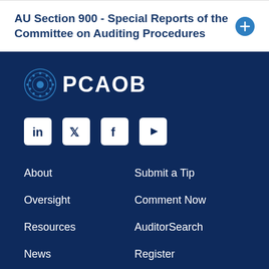AU Section 900 - Special Reports of the Committee on Auditing Procedures
[Figure (logo): PCAOB logo with globe icon and white text on dark navy background]
[Figure (infographic): Social media icons: LinkedIn, Twitter, Facebook, YouTube]
About
Submit a Tip
Oversight
Comment Now
Resources
AuditorSearch
News
Register